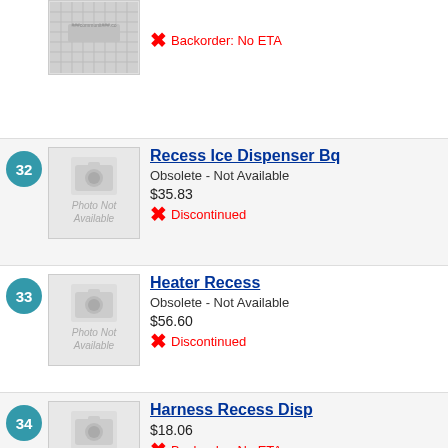[Figure (photo): Top partial product row with a real product photo (grid pattern on white), showing Backorder: No ETA status]
Backorder: No ETA
32
[Figure (photo): Photo Not Available placeholder image]
Recess Ice Dispenser Bq
Obsolete - Not Available
$35.83
Discontinued
33
[Figure (photo): Photo Not Available placeholder image]
Heater Recess
Obsolete - Not Available
$56.60
Discontinued
34
[Figure (photo): Photo Not Available placeholder image]
Harness Recess Disp
$18.06
Backorder: No ETA